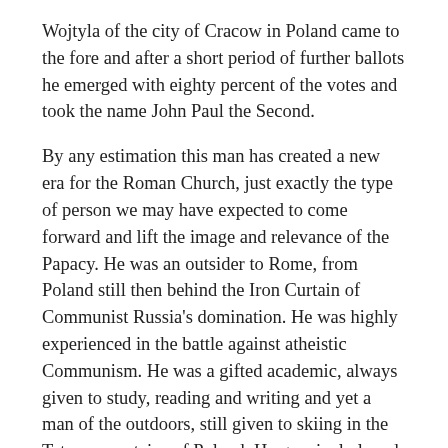Wojtyla of the city of Cracow in Poland came to the fore and after a short period of further ballots he emerged with eighty percent of the votes and took the name John Paul the Second.
By any estimation this man has created a new era for the Roman Church, just exactly the type of person we may have expected to come forward and lift the image and relevance of the Papacy. He was an outsider to Rome, from Poland still then behind the Iron Curtain of Communist Russia's domination. He was highly experienced in the battle against atheistic Communism. He was a gifted academic, always given to study, reading and writing and yet a man of the outdoors, still given to skiing in the Tatras mountains of Poland. He genuinely loved people so that his residence in Cracow was open to all comers, a most unusual feature for a cardinal's court. He lost his mother, his sister and his father before he was 20, knew poverty and simplicity and so had a soft sympathy for the oppressed. His youth was marked with a love for theatre and he would indeed have pursued this vocation before he turned to the priesthood. Both in the writing of script and in the performance itself Carol Wojtyla